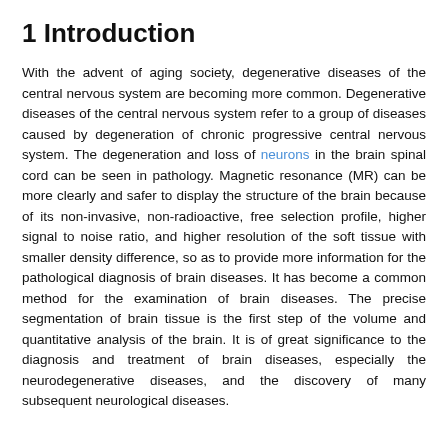1 Introduction
With the advent of aging society, degenerative diseases of the central nervous system are becoming more common. Degenerative diseases of the central nervous system refer to a group of diseases caused by degeneration of chronic progressive central nervous system. The degeneration and loss of neurons in the brain spinal cord can be seen in pathology. Magnetic resonance (MR) can be more clearly and safer to display the structure of the brain because of its non-invasive, non-radioactive, free selection profile, higher signal to noise ratio, and higher resolution of the soft tissue with smaller density difference, so as to provide more information for the pathological diagnosis of brain diseases. It has become a common method for the examination of brain diseases. The precise segmentation of brain tissue is the first step of the volume and quantitative analysis of the brain. It is of great significance to the diagnosis and treatment of brain diseases, especially the neurodegenerative diseases, and the discovery of many subsequent neurological diseases.